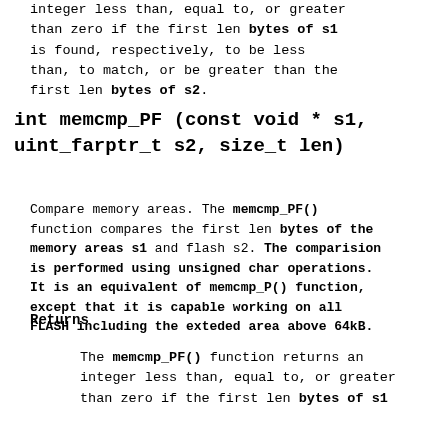integer less than, equal to, or greater than zero if the first len bytes of s1 is found, respectively, to be less than, to match, or be greater than the first len bytes of s2.
int memcmp_PF (const void * s1, uint_farptr_t s2, size_t len)
Compare memory areas. The memcmp_PF() function compares the first len bytes of the memory areas s1 and flash s2. The comparision is performed using unsigned char operations. It is an equivalent of memcmp_P() function, except that it is capable working on all FLASH including the exteded area above 64kB.
Returns
The memcmp_PF() function returns an integer less than, equal to, or greater than zero if the first len bytes of s1